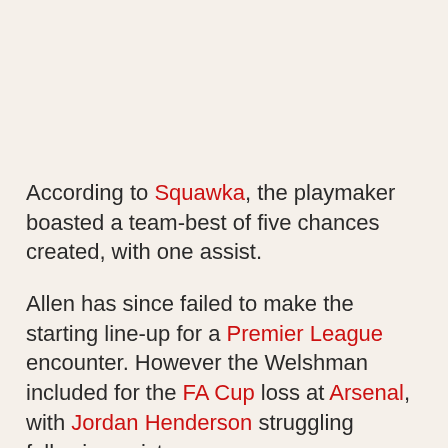According to Squawka, the playmaker boasted a team-best of five chances created, with one assist.
Allen has since failed to make the starting line-up for a Premier League encounter. However the Welshman included for the FA Cup loss at Arsenal, with Jordan Henderson struggling following wrist surgery.
With Henderson and Steven Gerrard forming a consistent base in Rodgers' midfield, and Coutinho providing several of the enigmatic performances of